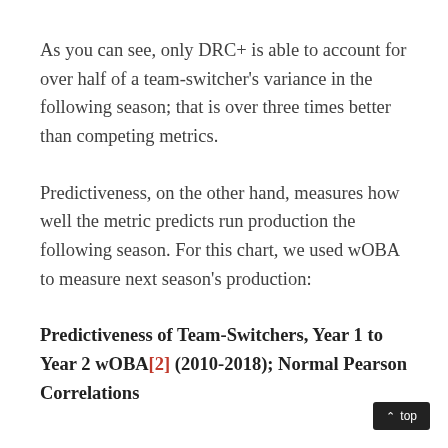As you can see, only DRC+ is able to account for over half of a team-switcher's variance in the following season; that is over three times better than competing metrics.
Predictiveness, on the other hand, measures how well the metric predicts run production the following season. For this chart, we used wOBA to measure next season's production:
Predictiveness of Team-Switchers, Year 1 to Year 2 wOBA[2] (2010-2018); Normal Pearson Correlations
↑ top